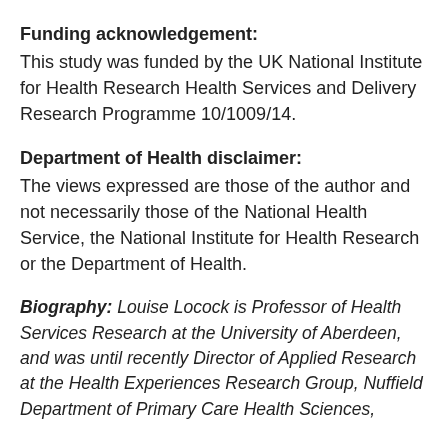Funding acknowledgement:
This study was funded by the UK National Institute for Health Research Health Services and Delivery Research Programme 10/1009/14.
Department of Health disclaimer:
The views expressed are those of the author and not necessarily those of the National Health Service, the National Institute for Health Research or the Department of Health.
Biography: Louise Locock is Professor of Health Services Research at the University of Aberdeen, and was until recently Director of Applied Research at the Health Experiences Research Group, Nuffield Department of Primary Care Health Sciences,